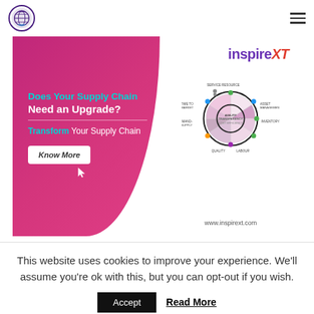[Figure (logo): Total Supply Chain Summit circular logo with globe/arrow icon]
[Figure (infographic): InspireXT supply chain advertisement banner with magenta half-circle, taglines 'Does Your Supply Chain Need an Upgrade?', 'Transform Your Supply Chain', 'Know More' button, supply chain wheel diagram, and www.inspirext.com URL]
This website uses cookies to improve your experience. We'll assume you're ok with this, but you can opt-out if you wish.
Accept   Read More